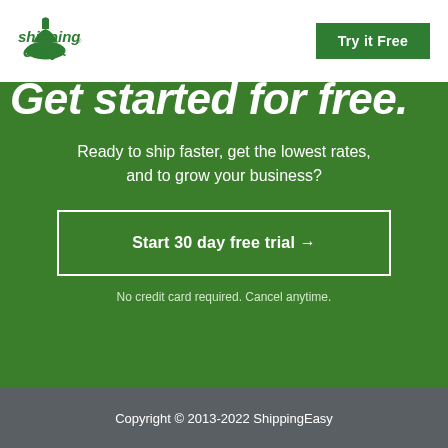[Figure (logo): ShippingEasy logo in green]
Try it Free
Get started for free.
Ready to ship faster, get the lowest rates, and to grow your business?
Start 30 day free trial →
No credit card required. Cancel anytime.
Copyright © 2013-2022 ShippingEasy